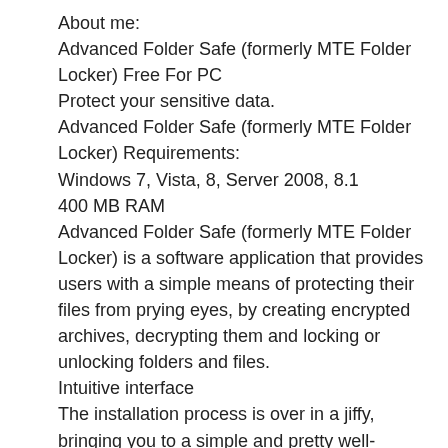About me:
Advanced Folder Safe (formerly MTE Folder Locker) Free For PC
Protect your sensitive data.
Advanced Folder Safe (formerly MTE Folder Locker) Requirements:
Windows 7, Vista, 8, Server 2008, 8.1
400 MB RAM
Advanced Folder Safe (formerly MTE Folder Locker) is a software application that provides users with a simple means of protecting their files from prying eyes, by creating encrypted archives, decrypting them and locking or unlocking folders and files.
Intuitive interface
The installation process is over in a jiffy, bringing you to a simple and pretty well-organized interface. It encompasses a menu bar, several buttons, a folder structure and a pane in which to view selected items.
Moreover, some Help contents are provided